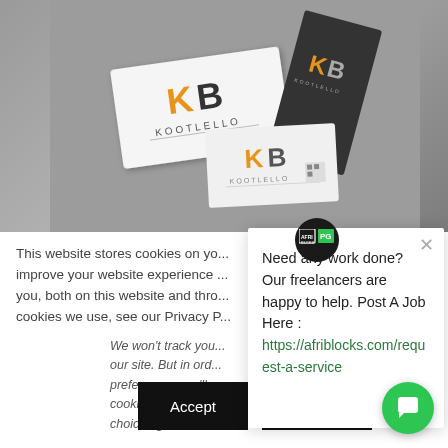[Figure (photo): Business cards with Kootlello logo (orange and gray K letter mark) on a gray background. Multiple cards shown at different angles — white cards and dark gray cards.]
This website stores cookies on yo... improve your website experience ... you, both on this website and thro... cookies we use, see our Privacy P...
We won't track you... our site. But in ord... preferences, we'll ... cookie so that you... choice again.
[Figure (screenshot): Popup panel with Afriblocks logo icon. Text: 'Need any work done? Our freelancers are happy to help. Post A Job Here : https://afriblocks.com/request-a-service']
Need any work done? Our freelancers are happy to help. Post A Job Here : https://afriblocks.com/request-a-service